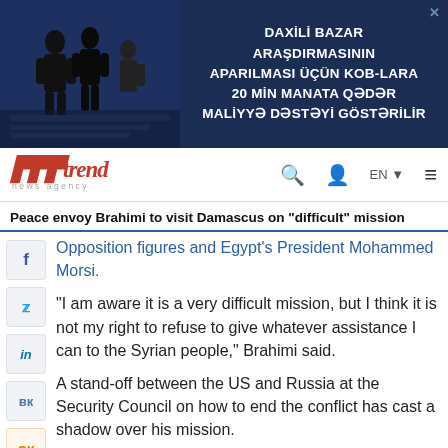[Figure (other): Advertisement banner: dark blue background with silhouettes of business people on the left and Azerbaijani text on the right reading 'DAXİLİ BAZAR ARAŞDIRMASININ APARILMASI ÜÇÜN KOB-LARA 20 MIN MANATA QƏDƏR MALİYYƏ DƏSTƏYİ GÖSTƏRİLİR']
[Figure (logo): Trend News Agency logo - red italic text 'trend' with vertical bar lines, subtitle 'news agency' in small gray letters]
Peace envoy Brahimi to visit Damascus on "difficult" mission
Opposition figures and Egypt's President Mohammed Morsi.
"I am aware it is a very difficult mission, but I think it is not my right to refuse to give whatever assistance I can to the Syrian people," Brahimi said.
A stand-off between the US and Russia at the Security Council on how to end the conflict has cast a shadow over his mission.